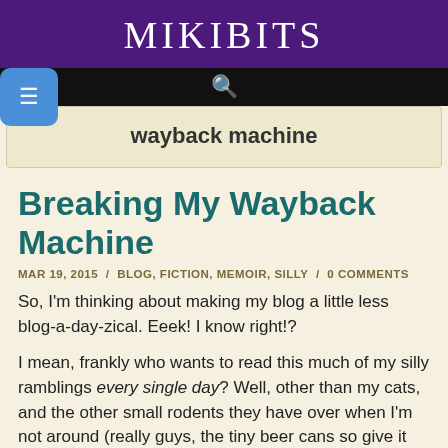MIKIBITS
wayback machine
Breaking My Wayback Machine
MAR 19, 2015 / BLOG, FICTION, MEMOIR, SILLY / 0 COMMENTS
So, I'm thinking about making my blog a little less blog-a-day-zical. Eeek! I know right!?
I mean, frankly who wants to read this much of my silly ramblings every single day? Well, other than my cats, and the other small rodents they have over when I'm not around (really guys, the tiny beer cans so give it away).